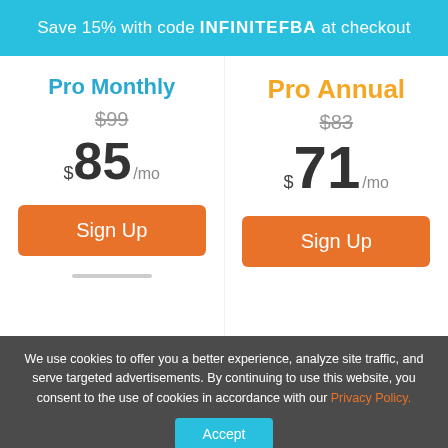Save 15% with code INFINITEFBA at checkout
Pro Monthly
$99
$85/mo
Sign Up
Pro Annual
$83
$71/mo
Sign Up
We use cookies to offer you a better experience, analyze site traffic, and serve targeted advertisements. By continuing to use this website, you consent to the use of cookies in accordance with our Privacy Policy.
Accept